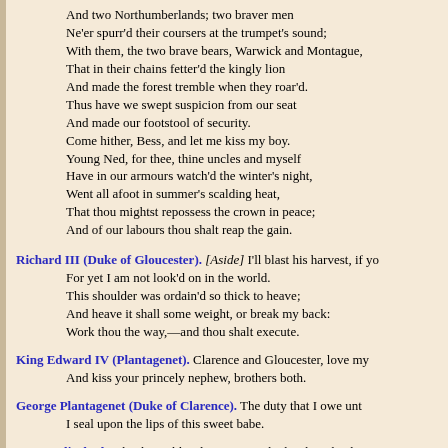And two Northumberlands; two braver men
Ne'er spurr'd their coursers at the trumpet's sound;
With them, the two brave bears, Warwick and Montague,
That in their chains fetter'd the kingly lion
And made the forest tremble when they roar'd.
Thus have we swept suspicion from our seat
And made our footstool of security.
Come hither, Bess, and let me kiss my boy.
Young Ned, for thee, thine uncles and myself
Have in our armours watch'd the winter's night,
Went all afoot in summer's scalding heat,
That thou mightst repossess the crown in peace;
And of our labours thou shalt reap the gain.
Richard III (Duke of Gloucester). [Aside] I'll blast his harvest, if yo
For yet I am not look'd on in the world.
This shoulder was ordain'd so thick to heave;
And heave it shall some weight, or break my back:
Work thou the way,—and thou shalt execute.
King Edward IV (Plantagenet). Clarence and Gloucester, love my
And kiss your princely nephew, brothers both.
George Plantagenet (Duke of Clarence). The duty that I owe unt
I seal upon the lips of this sweet babe.
Queen Elizabeth. Thanks, noble Clarence; worthy brother, thanks